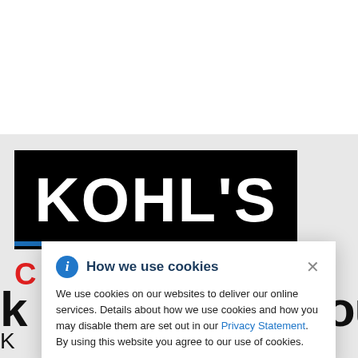[Figure (logo): Kohl's logo — white bold text on black background with blue underline bar]
K…oud
K… use Linux customer, embarked on a hybrid cloud journey
How we use cookies
We use cookies on our websites to deliver our online services. Details about how we use cookies and how you may disable them are set out in our Privacy Statement. By using this website you agree to our use of cookies.